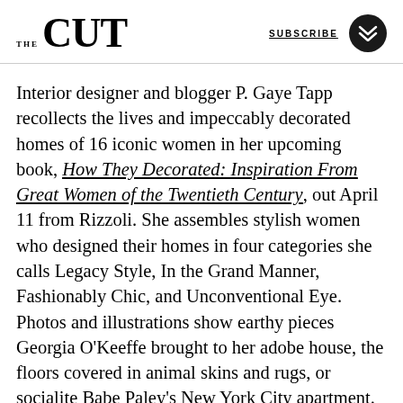THE CUT | SUBSCRIBE
Interior designer and blogger P. Gaye Tapp recollects the lives and impeccably decorated homes of 16 iconic women in her upcoming book, How They Decorated: Inspiration From Great Women of the Twentieth Century, out April 11 from Rizzoli. She assembles stylish women who designed their homes in four categories she calls Legacy Style, In the Grand Manner, Fashionably Chic, and Unconventional Eye. Photos and illustrations show earthy pieces Georgia O'Keeffe brought to her adobe house, the floors covered in animal skins and rugs, or socialite Babe Paley's New York City apartment.
All of the women are connected by their good taste